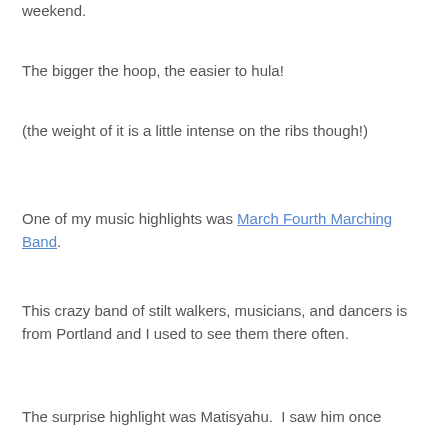weekend.
The bigger the hoop, the easier to hula!
(the weight of it is a little intense on the ribs though!)
One of my music highlights was March Fourth Marching Band.
This crazy band of stilt walkers, musicians, and dancers is from Portland and I used to see them there often.
The surprise highlight was Matisyahu.  I saw him once